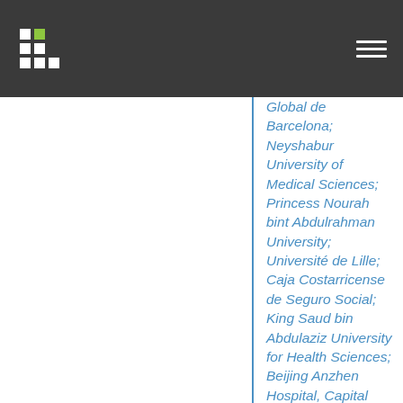Global de Barcelona; Neyshabur University of Medical Sciences; Princess Nourah bint Abdulrahman University; Université de Lille; Caja Costarricense de Seguro Social; King Saud bin Abdulaziz University for Health Sciences; Beijing Anzhen Hospital, Capital Medical University; Ministry of Health Seychelles; Qatar University; Birzeit